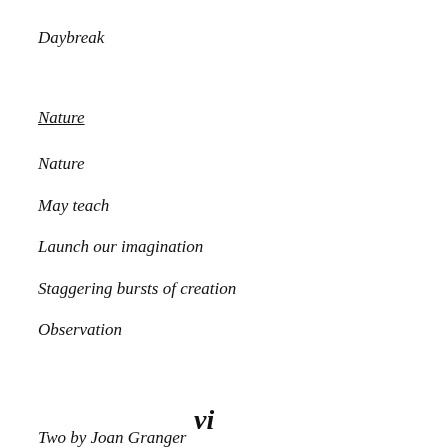Daybreak
Nature
Nature
May teach
Launch our imagination
Staggering bursts of creation
Observation
Two by Joan Granger